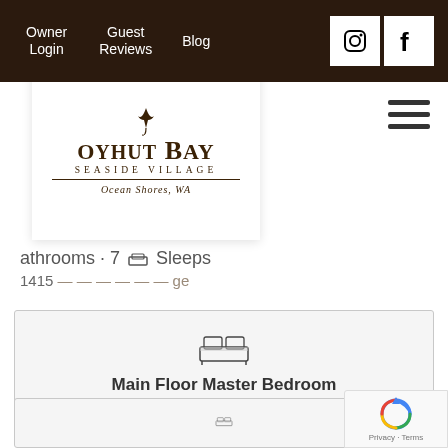Owner Login | Guest Reviews | Blog
[Figure (logo): Oyhut Bay Seaside Village logo with heron bird, text 'OYHUT BAY SEASIDE VILLAGE Ocean Shores, WA']
athrooms · 7 Sleeps
1415 [partially visible text]
Main Floor Master Bedroom
1 Queen
Upstairs Master Bedroom
1 Queen
[Figure (other): reCAPTCHA badge with Privacy and Terms links]